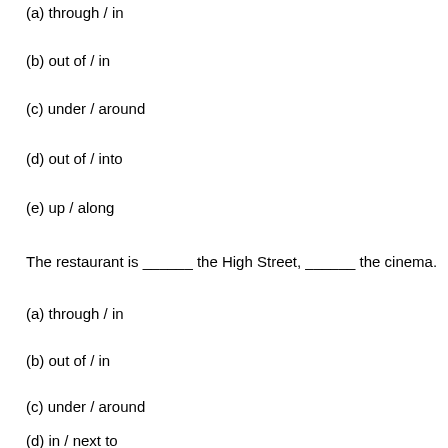(a) through / in
(b) out of / in
(c) under / around
(d) out of / into
(e) up / along
The restaurant is ______ the High Street, ______ the cinema.
(a) through / in
(b) out of / in
(c) under / around
(d) in / next to